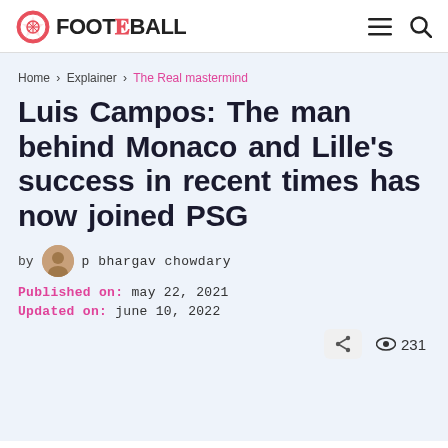FOOT THE BALL
Home › Explainer › The Real mastermind
Luis Campos: The man behind Monaco and Lille's success in recent times has now joined PSG
by p bhargav chowdary
Published on: may 22, 2021
Updated on: june 10, 2022
231 views